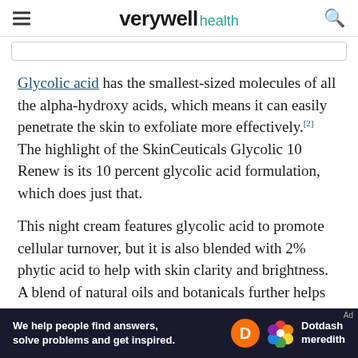verywell health
Glycolic acid has the smallest-sized molecules of all the alpha-hydroxy acids, which means it can easily penetrate the skin to exfoliate more effectively.[2] The highlight of the SkinCeuticals Glycolic 10 Renew is its 10 percent glycolic acid formulation, which does just that.
This night cream features glycolic acid to promote cellular turnover, but it is also blended with 2% phytic acid to help with skin clarity and brightness. A blend of natural oils and botanicals further helps in soothing and hydrating skin. A 12-week clinical study showed that users of the SkinCeuticals
We help people find answers, solve problems and get inspired. Dotdash meredith